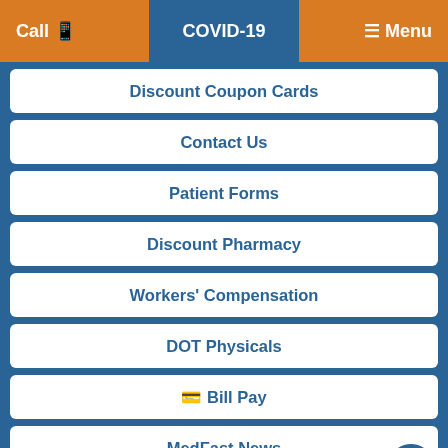Call | COVID-19 | ☰ Menu
Discount Coupon Cards
Contact Us
Patient Forms
Discount Pharmacy
Workers' Compensation
DOT Physicals
⊡ Bill Pay
MedFast News
Testimonials